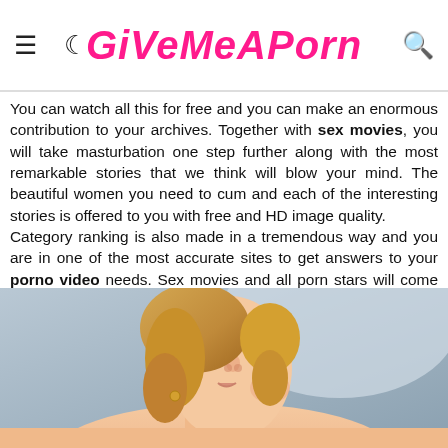GiVeMeAPorn
You can watch all this for free and you can make an enormous contribution to your archives. Together with sex movies, you will take masturbation one step further along with the most remarkable stories that we think will blow your mind. The beautiful women you need to cum and each of the interesting stories is offered to you with free and HD image quality.
Category ranking is also made in a tremendous way and you are in one of the most accurate sites to get answers to your porno video needs. Sex movies and all porn stars will come up at this address and come to your feet.
All you need to do is to enter the hottest porn category and watch our porno video featuring the hottest girls at the quality address. The quality of the video will make you do the rest!
[Figure (photo): A young blonde woman with curly hair and a gold earring, looking upward, photographed from below against a light background.]